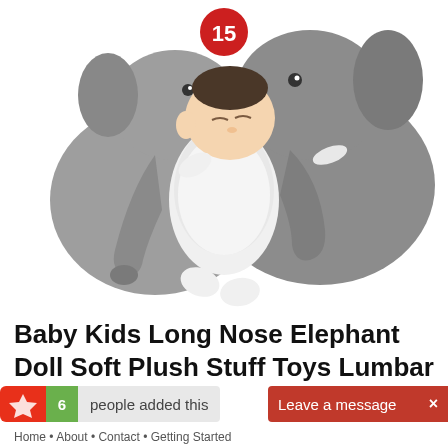[Figure (photo): A baby sleeping between two large grey elephant stuffed plush toys/pillows on a white background. A red notification badge with the number 15 appears in the upper center area.]
Baby Kids Long Nose Elephant Doll Soft Plush Stuff Toys Lumbar Cushion Pillow
6 people added this
Leave a message  ×
Home • About • Contact • Getting Started